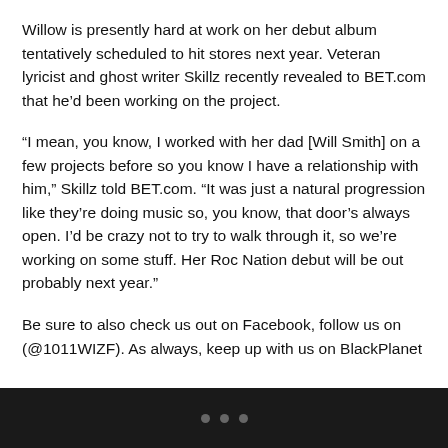Willow is presently hard at work on her debut album tentatively scheduled to hit stores next year. Veteran lyricist and ghost writer Skillz recently revealed to BET.com that he'd been working on the project.
“I mean, you know, I worked with her dad [Will Smith] on a few projects before so you know I have a relationship with him,” Skillz told BET.com. “It was just a natural progression like they’re doing music so, you know, that door’s always open. I’d be crazy not to try to walk through it, so we’re working on some stuff. Her Roc Nation debut will be out probably next year.”
Be sure to also check us out on Facebook, follow us on (@1011WIZF). As always, keep up with us on BlackPlanet
...